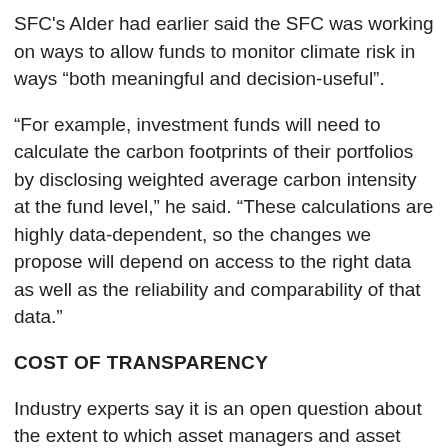SFC's Alder had earlier said the SFC was working on ways to allow funds to monitor climate risk in ways “both meaningful and decision-useful”.
“For example, investment funds will need to calculate the carbon footprints of their portfolios by disclosing weighted average carbon intensity at the fund level,” he said. “These calculations are highly data-dependent, so the changes we propose will depend on access to the right data as well as the reliability and comparability of that data.”
COST OF TRANSPARENCY
Industry experts say it is an open question about the extent to which asset managers and asset owners have